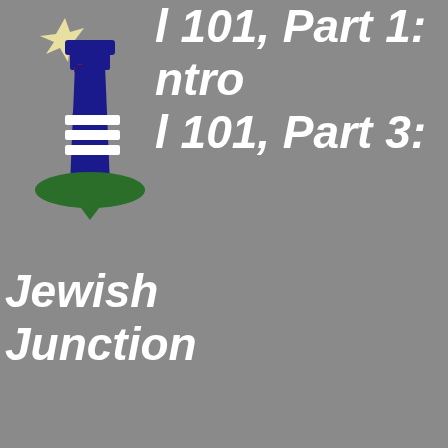[Figure (logo): Lighthouse logo with star/burst shape at top, blue lighthouse tower with red swirl, white horizontal lines in middle, green base, on grey background]
l 101, Part 1: ntro l 101, Part 3: Jewish Junction